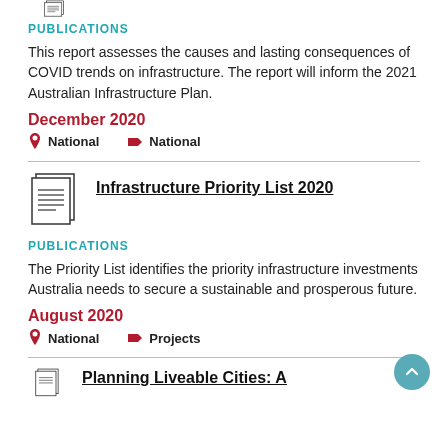[Figure (illustration): Document/publication icon (partially visible at top)]
PUBLICATIONS
This report assesses the causes and lasting consequences of COVID trends on infrastructure. The report will inform the 2021 Australian Infrastructure Plan.
December 2020
National   National
[Figure (illustration): Document/publication icon]
Infrastructure Priority List 2020
PUBLICATIONS
The Priority List identifies the priority infrastructure investments Australia needs to secure a sustainable and prosperous future.
August 2020
National   Projects
[Figure (illustration): Document/publication icon (partially visible at bottom)]
Planning Liveable Cities: A